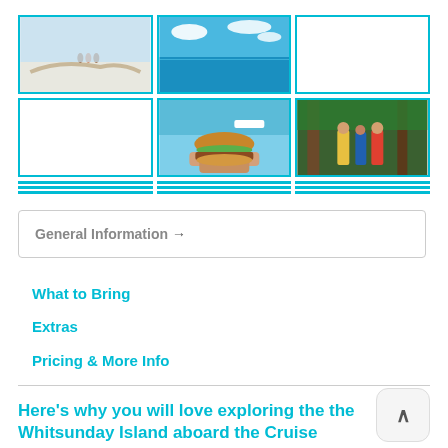[Figure (photo): 3x2 grid of travel photos: beach with people on driftwood, blue sky over water, blank cell, blank cell, burger held up with beach/boat in background, people in rainforest]
General Information →
What to Bring
Extras
Pricing & More Info
Here's why you will love exploring the the Whitsunday Island aboard the Cruise Whitsundays - Whitehaven & Hill Inlet Chill & Grill Day Tour